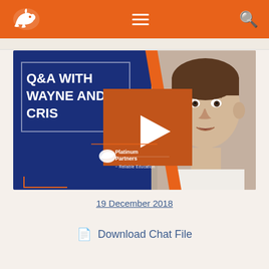[Figure (screenshot): Navigation bar with rhino logo, hamburger menu, and search icon on orange background]
[Figure (screenshot): Video thumbnail showing 'Q&A WITH WAYNE AND CRIS' text on dark blue background with orange play button, man's face on right side, and Platinum Partners / Reliable Education logo at bottom]
19 December 2018
Download Chat File